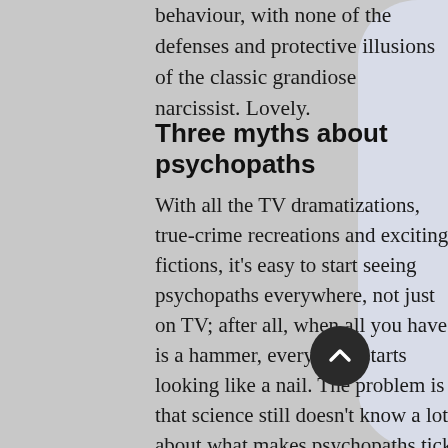behaviour, with none of the defenses and protective illusions of the classic grandiose narcissist. Lovely.
Three myths about psychopaths
With all the TV dramatizations, true-crime recreations and exciting fictions, it's easy to start seeing psychopaths everywhere, not just on TV; after all, when all you have is a hammer, everything starts looking like a nail. The problem is that science still doesn't know a lot about what makes psychopaths tick, certainly not enough for us to run around slapping people we just don't like with the dreaded label. Misconceptions about psychopathy abound, making it easy to start suspecting the creepy-looking mail carrier or the person staring at you too